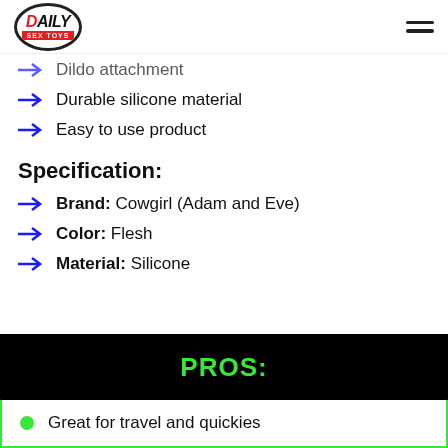Daily Sex Toys
Dildo attachment
Durable silicone material
Easy to use product
Specification:
Brand: Cowgirl (Adam and Eve)
Color: Flesh
Material: Silicone
PROS:
Great for travel and quickies